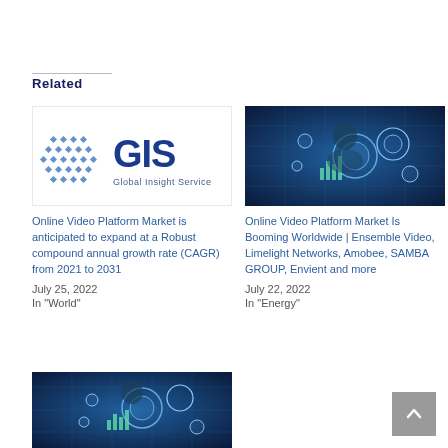Related
[Figure (logo): GIS Global Insight Service logo with blue diamond grid pattern and blue GIS text]
Online Video Platform Market is anticipated to expand at a Robust compound annual growth rate (CAGR) from 2021 to 2031
July 25, 2022
In "World"
[Figure (photo): Person interacting with a digital touch screen interface showing charts and icons, blue tech background]
Online Video Platform Market Is Booming Worldwide | Ensemble Video, Limelight Networks, Amobee, SAMBA GROUP, Envient and more
July 22, 2022
In "Energy"
[Figure (photo): Person interacting with a digital touch screen interface showing charts and icons, blue tech background]